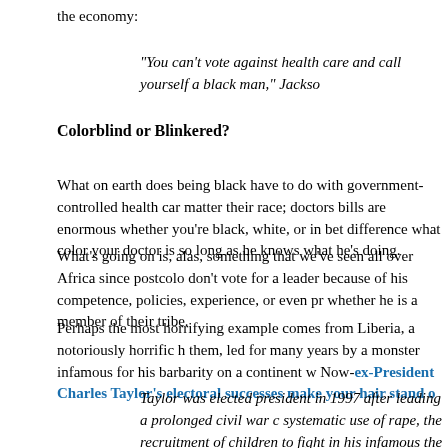the economy:
"You can't vote against health care and call yourself a black man," Jackso
Colorblind or Blinkered?
What on earth does being black have to do with government-controlled health car matter their race; doctors bills are enormous whether you're black, white, or in bet difference what color your doctor is so long as he knows what he's doing.
What's going on is, alas, something that we've seen all over Africa since postcolo don't vote for a leader because of his competence, policies, experience, or even pr whether he is a member of their tribe.
Perhaps the most horrifying example comes from Liberia, a notoriously horrific h them, led for many years by a monster infamous for his barbarity on a continent w Now-ex-President Charles Taylor's electoral successes make your hair stand o
Taylor was elected president in 1997 after leading a prolonged civil war c systematic use of rape, the recruitment of children to fight in his infamous the mutilation of the civilian population. His support then was based on fe even greater havoc on Liberia again if he lost. People chanted in the stree